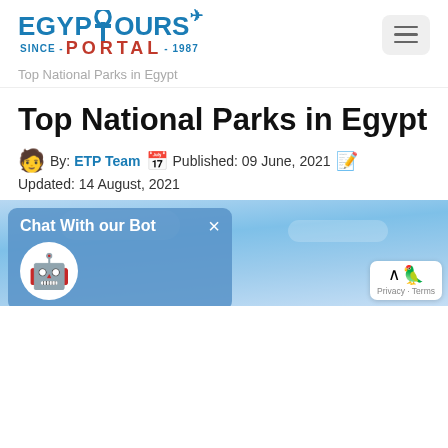[Figure (logo): Egypt Tours Portal logo with ankh symbol, airplane icon, and text 'SINCE - PORTAL - 1987' in blue and red]
[Figure (other): Hamburger menu button (three horizontal lines) in a rounded gray rectangle]
Top National Parks in Egypt
Top National Parks in Egypt
By: ETP Team  Published: 09 June, 2021
Updated: 14 August, 2021
[Figure (screenshot): Blue sky image with a chatbot popup overlay reading 'Chat With our Bot' with an X close button and a robot icon. Bottom right has a scroll-to-top button with Privacy - Terms text.]